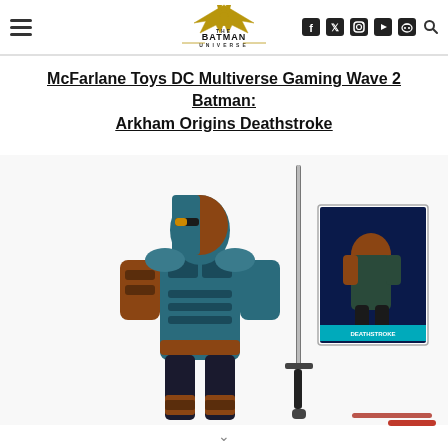The Batman Universe — navigation header with logo, hamburger menu, and social icons (Facebook, Twitter, Instagram, YouTube, Discord, Search)
McFarlane Toys DC Multiverse Gaming Wave 2 Batman: Arkham Origins Deathstroke
[Figure (photo): McFarlane Toys DC Multiverse Deathstroke action figure from Batman: Arkham Origins — armored figure in teal and copper suit, with a sword accessory, and a character card showing Deathstroke. Image appears to be a product/promotional photo on white background.]